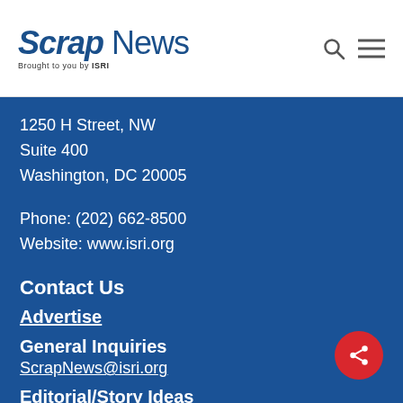Scrap News — Brought to you by ISRI
1250 H Street, NW
Suite 400
Washington, DC 20005
Phone: (202) 662-8500
Website: www.isri.org
Contact Us
Advertise
General Inquiries
ScrapNews@isri.org
Editorial/Story Ideas